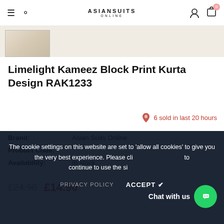ASIANSUITS ONLINE
[Figure (photo): Partial product thumbnail of a beige/cream fabric garment]
Limelight Kameez Block Print Kurta Design RAK1233
6 sold in last 20 hours
Brand: Asian Suits Online
Product Code:
Availability: In stock
£24.90 £14.90
The cookie settings on this website are set to 'allow all cookies' to give you the very best experience. Please click to continue to use the site.
Chat with us
PRIVACY POLICY   ACCEPT ✔